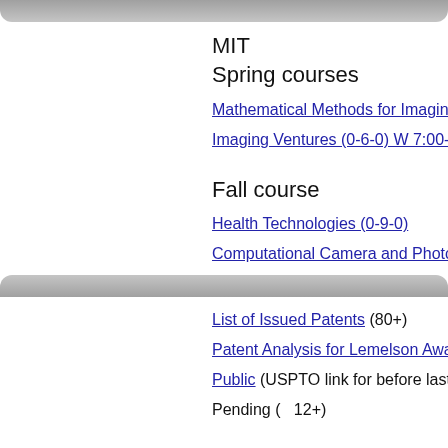MIT
Spring courses
Mathematical Methods for Imaging
Imaging Ventures (0-6-0) W 7:00-9
Fall course
Health Technologies (0-9-0)
Computational Camera and Photog
List of Issued Patents (80+)
Patent Analysis for Lemelson Award
Public (USPTO link for before last 1
Pending (   12+)